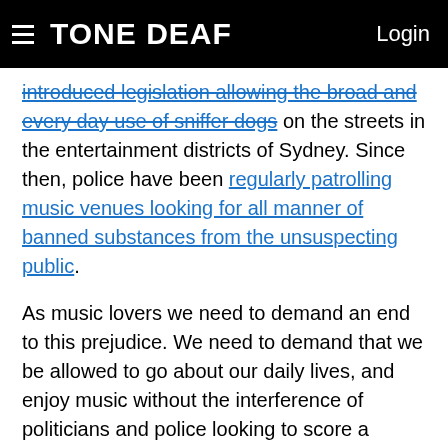TONE DEAF | Login
introduced legislation allowing the broad and every day use of sniffer dogs on the streets in the entertainment districts of Sydney. Since then, police have been regularly patrolling music venues looking for all manner of banned substances from the unsuspecting public.
As music lovers we need to demand an end to this prejudice. We need to demand that we be allowed to go about our daily lives, and enjoy music without the interference of politicians and police looking to score a headline.
Will people continue to take drugs at music events and festivals? According to the studies, yes. So not only are sniffer dogs completely ineffective, but the presence of these dogs and the fear and intimidation they're deliberately used for, can in fact be a grave detriment to the health and wellbeing of those who decide to use